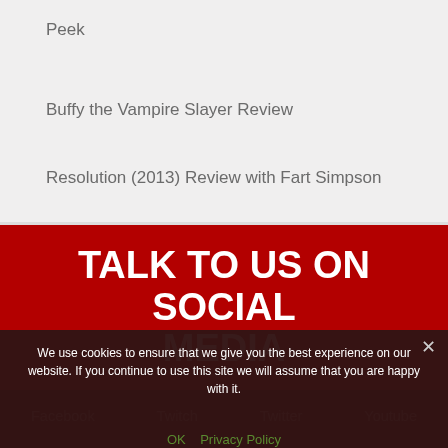Peek
Buffy the Vampire Slayer Review
Resolution (2013) Review with Fart Simpson
TALK TO US ON SOCIAL MEDIA
We use cookies to ensure that we give you the best experience on our website. If you continue to use this site we will assume that you are happy with it.
Facebook   Twitch   Twitter   Youtube
OK   Privacy Policy